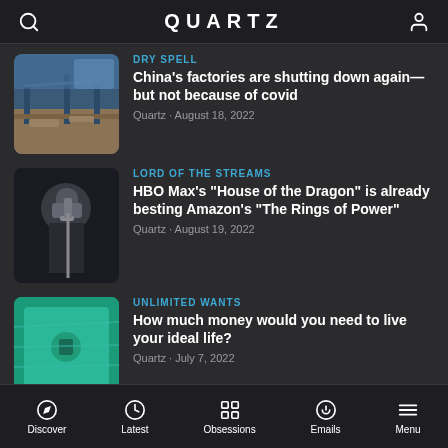QUARTZ
DRY SPELL
China's factories are shutting down again—but not because of covid
Quartz • August 18, 2022
LORD OF THE STREAMS
HBO Max's "House of the Dragon" is already besting Amazon's "The Rings of Power"
Quartz • August 19, 2022
UNLIMITED WANTS
How much money would you need to live your ideal life?
Quartz • July 7, 2022
TRAVEL APARTHEID
Discover  Latest  Obsessions  Emails  Menu